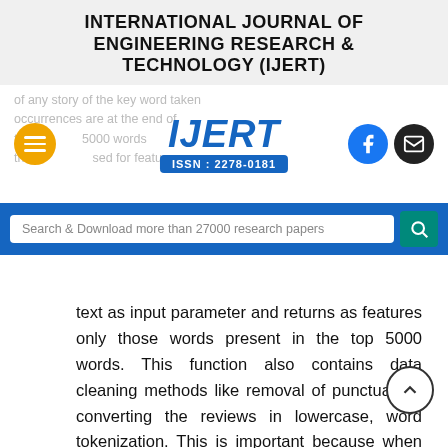INTERNATIONAL JOURNAL OF ENGINEERING RESEARCH & TECHNOLOGY (IJERT)
[Figure (logo): IJERT logo with ISSN 2278-0181, flanked by hamburger menu button on left and Facebook/email social icons on right. Faded background text partially visible.]
Search & Download more than 27000 research papers
text as input parameter and returns as features only those words present in the top 5000 words. This function also contains data cleaning methods like removal of punctuation, converting the reviews in lowercase, word tokenization. This is important because when the model